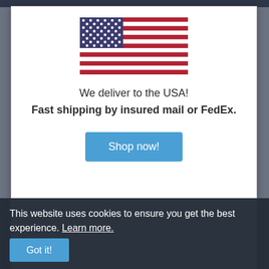[Figure (illustration): US flag centered in white modal popup]
We deliver to the USA!
Fast shipping by insured mail or FedEx.
Shop now!
Shop more: Techno | TOBIAS | Unterton Germany
Review
2012 saw Berlin kings, Ostgut Ton create their considerably best experience...
This website uses cookies to ensure you get the best experience. Learn more.
Got it!